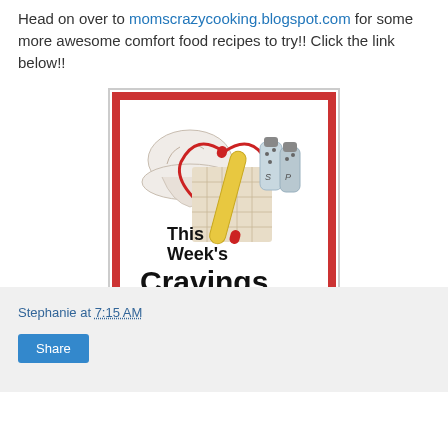Head on over to momscrazycooking.blogspot.com for some more awesome comfort food recipes to try!! Click the link below!!
[Figure (illustration): This Week's Cravings badge/logo showing a chef's hat, rolling pin, salt and pepper shakers in a basket, with bold black text reading 'This Week's Cravings' on white background with red border]
Stephanie at 7:15 AM
Share